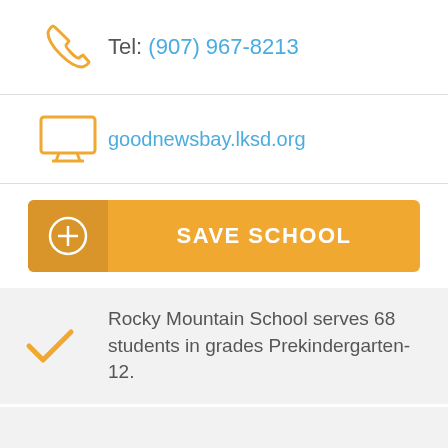Tel: (907) 967-8213
goodnewsbay.lksd.org
SAVE SCHOOL
Rocky Mountain School serves 68 students in grades Prekindergarten-12.
Rocky Mountain School placed in the